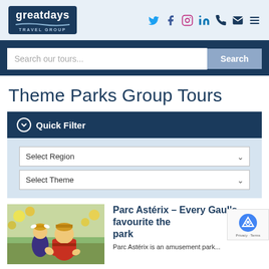[Figure (logo): Greatdays Travel Group logo with social media icons (Twitter, Facebook, Instagram, LinkedIn) and contact icons (phone, email, menu)]
[Figure (screenshot): Search bar with placeholder text 'Search our tours...' and a Search button]
Theme Parks Group Tours
Quick Filter
Select Region
Select Theme
[Figure (photo): Asterix and Obelix character statues at Parc Astérix theme park]
Parc Astérix – Every Gaul's favourite theme park
Parc Astérix is an amusement park...